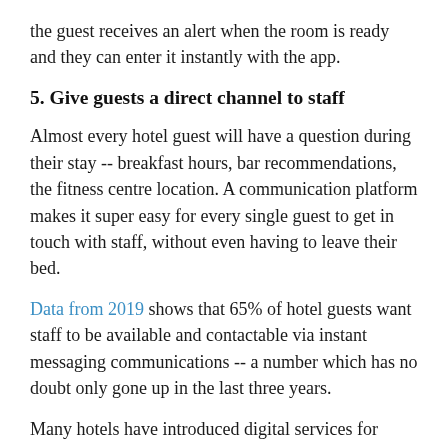the guest receives an alert when the room is ready and they can enter it instantly with the app.
5. Give guests a direct channel to staff
Almost every hotel guest will have a question during their stay -- breakfast hours, bar recommendations, the fitness centre location. A communication platform makes it super easy for every single guest to get in touch with staff, without even having to leave their bed.
Data from 2019 shows that 65% of hotel guests want staff to be available and contactable via instant messaging communications -- a number which has no doubt only gone up in the last three years.
Many hotels have introduced digital services for guests, where they can send any questions or